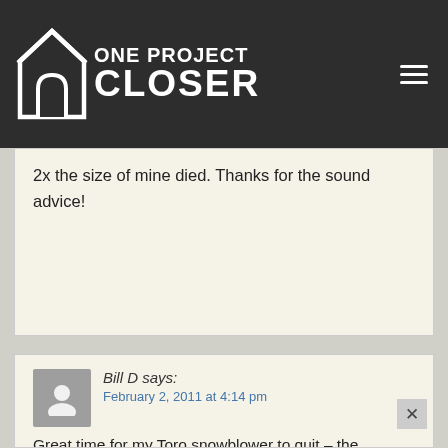ONE PROJECT CLOSER
2x the size of mine died. Thanks for the sound advice!
Bill D says:
February 2, 2011 at 4:14 pm

Great time for my Toro snowblower to quit – the blizzard of 2011. Used it last night and worked fine. Got up today and electric starter just whirls – doesn't catch. Tried recoil but there isn't any tension in cord at all. Resorted to manual labor. Any thoughts on problem with snowblower?